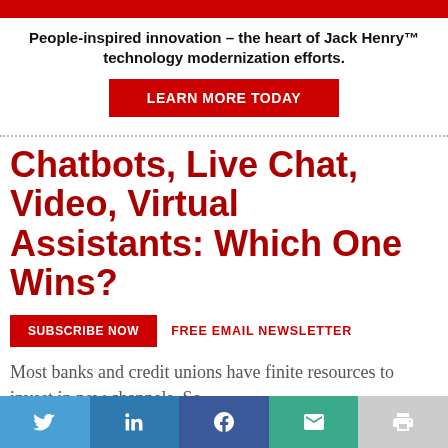People-inspired innovation – the heart of Jack Henry™ technology modernization efforts.
LEARN MORE TODAY
Chatbots, Live Chat, Video, Virtual Assistants: Which One Wins?
SUBSCRIBE NOW   FREE EMAIL NEWSLETTER
Most banks and credit unions have finite resources to invest in new channels. So
Social share buttons: Twitter, LinkedIn, Facebook, Email, Print